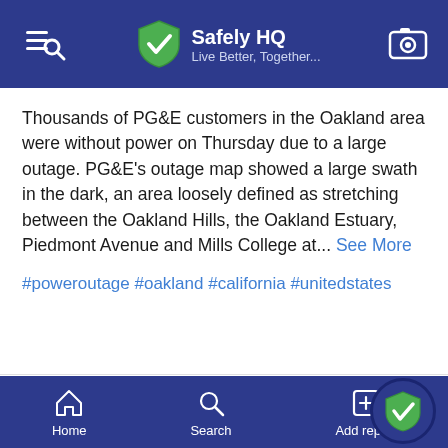Safely HQ — Live Better, Together...
Thousands of PG&E customers in the Oakland area were without power on Thursday due to a large outage. PG&E's outage map showed a large swath in the dark, an area loosely defined as stretching between the Oakland Hills, the Oakland Estuary, Piedmont Avenue and Mills College at... See More
#poweroutage #oakland #california #unitedstates
Home  Search  Add report